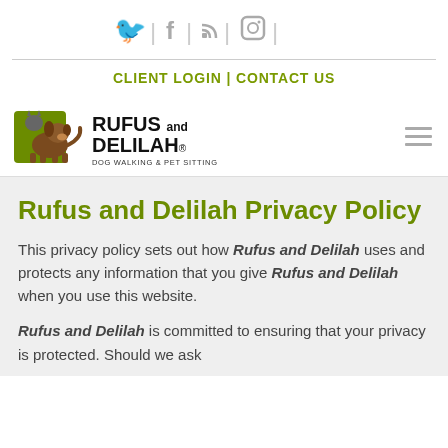[Figure (other): Social media icons: Twitter, Facebook, RSS, Instagram with pipe separators]
CLIENT LOGIN | CONTACT US
[Figure (logo): Rufus and Delilah dog walking & pet sitting logo with illustrated animals]
Rufus and Delilah Privacy Policy
This privacy policy sets out how Rufus and Delilah uses and protects any information that you give Rufus and Delilah when you use this website.
Rufus and Delilah is committed to ensuring that your privacy is protected. Should we ask